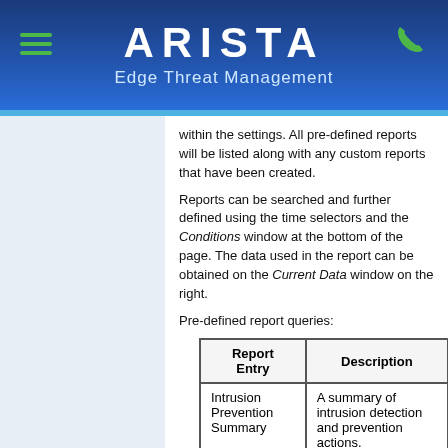ARISTA Edge Threat Management
within the settings. All pre-defined reports will be listed along with any custom reports that have been created.
Reports can be searched and further defined using the time selectors and the Conditions window at the bottom of the page. The data used in the report can be obtained on the Current Data window on the right.
Pre-defined report queries:
| Report Entry | Description |
| --- | --- |
| Intrusion Prevention Summary | A summary of intrusion detection and prevention actions. |
| Intrusion Detection | The amount of detected and blocked intrusions |